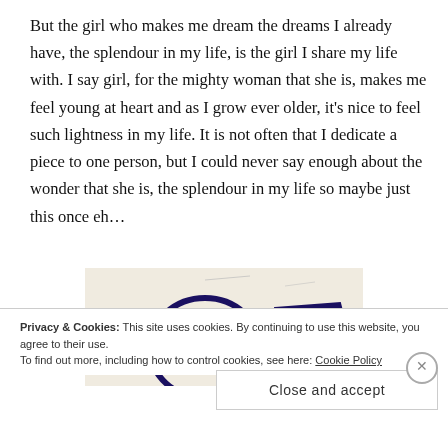But the girl who makes me dream the dreams I already have, the splendour in my life, is the girl I share my life with. I say girl, for the mighty woman that she is, makes me feel young at heart and as I grow ever older, it's nice to feel such lightness in my life. It is not often that I dedicate a piece to one person, but I could never say enough about the wonder that she is, the splendour in my life so maybe just this once eh…
[Figure (illustration): Partial hand-drawn illustration on cream/beige paper showing what appears to be a figure or letter drawn in dark navy/purple ink, partially visible.]
Privacy & Cookies: This site uses cookies. By continuing to use this website, you agree to their use.
To find out more, including how to control cookies, see here: Cookie Policy
Close and accept